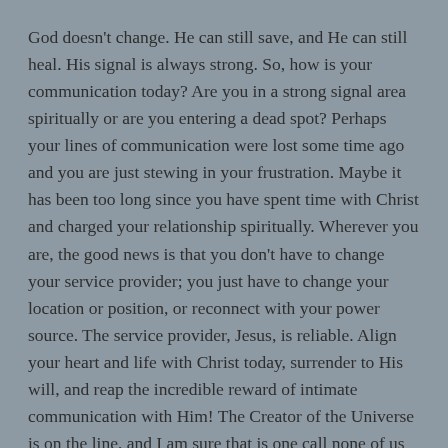God doesn't change. He can still save, and He can still heal. His signal is always strong. So, how is your communication today? Are you in a strong signal area spiritually or are you entering a dead spot? Perhaps your lines of communication were lost some time ago and you are just stewing in your frustration. Maybe it has been too long since you have spent time with Christ and charged your relationship spiritually. Wherever you are, the good news is that you don't have to change your service provider; you just have to change your location or position, or reconnect with your power source. The service provider, Jesus, is reliable. Align your heart and life with Christ today, surrender to His will, and reap the incredible reward of intimate communication with Him! The Creator of the Universe is on the line, and I am sure that is one call none of us want interrupted!
I am grateful that the Lord is still mighty to save and He can